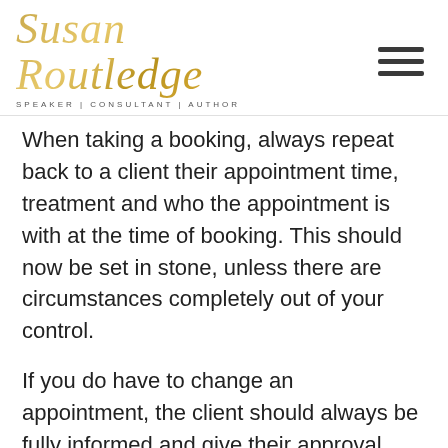Susan Routledge — SPEAKER | CONSULTANT | AUTHOR
When taking a booking, always repeat back to a client their appointment time, treatment and who the appointment is with at the time of booking. This should now be set in stone, unless there are circumstances completely out of your control.
If you do have to change an appointment, the client should always be fully informed and give their approval. Change without acknowledgement at your peril!